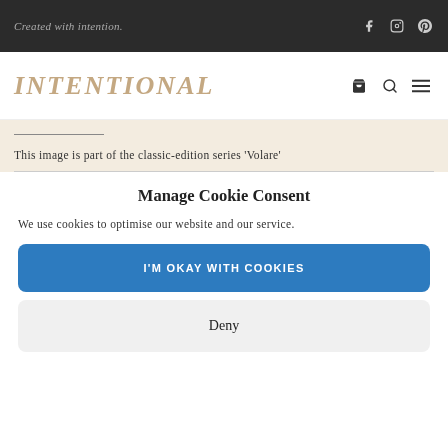Created with intention.
INTENTIONAL
This image is part of the classic-edition series 'Volare'
Manage Cookie Consent
We use cookies to optimise our website and our service.
I'M OKAY WITH COOKIES
Deny